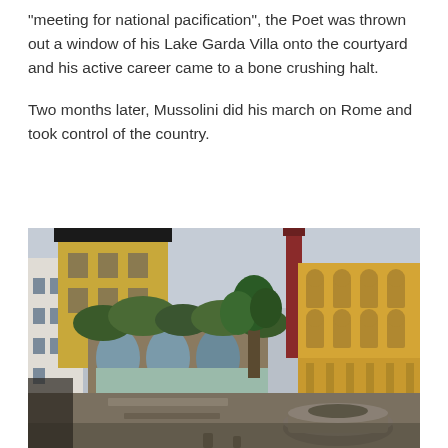“meeting for national pacification”, the Poet was thrown out a window of his Lake Garda Villa onto the courtyard and his active career came to a bone crushing halt.
Two months later, Mussolini did his march on Rome and took control of the country.
[Figure (photo): Courtyard of a villa with yellow-painted buildings, arched walkways covered in vines, a tall red chimney or column, trees, and a stone fountain or well in the foreground. Overcast sky. Likely the Lake Garda Villa referenced in the text.]